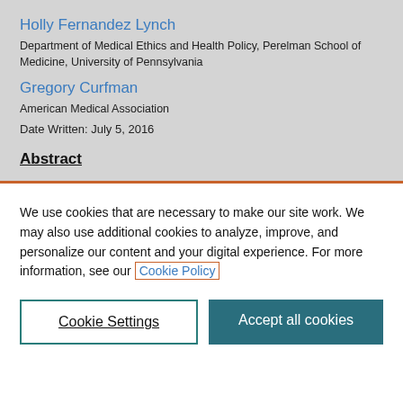Holly Fernandez Lynch
Department of Medical Ethics and Health Policy, Perelman School of Medicine, University of Pennsylvania
Gregory Curfman
American Medical Association
Date Written: July 5, 2016
Abstract
We use cookies that are necessary to make our site work. We may also use additional cookies to analyze, improve, and personalize our content and your digital experience. For more information, see our Cookie Policy
Cookie Settings
Accept all cookies